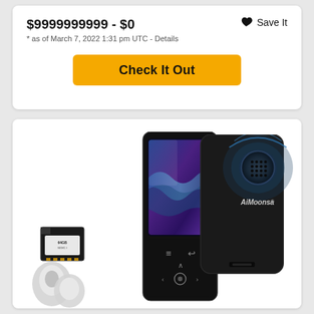$9999999999 - $0
* as of March 7, 2022 1:31 pm UTC - Details
Save It
Check It Out
[Figure (photo): Product photo showing an AiMoonsa MP3 player with Bluetooth speaker, 64GB SD card, and earbuds]